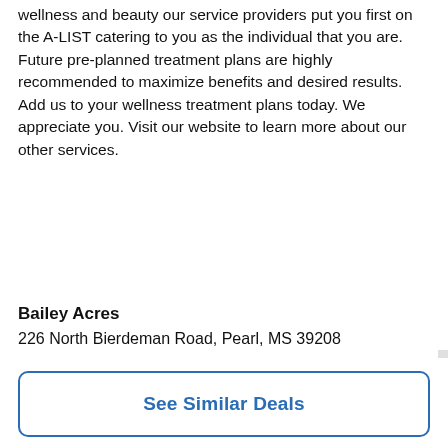wellness and beauty our service providers put you first on the A-LIST catering to you as the individual that you are. Future pre-planned treatment plans are highly recommended to maximize benefits and desired results. Add us to your wellness treatment plans today. We appreciate you. Visit our website to learn more about our other services.
Bailey Acres
226 North Bierdeman Road, Pearl, MS 39208
See Similar Deals